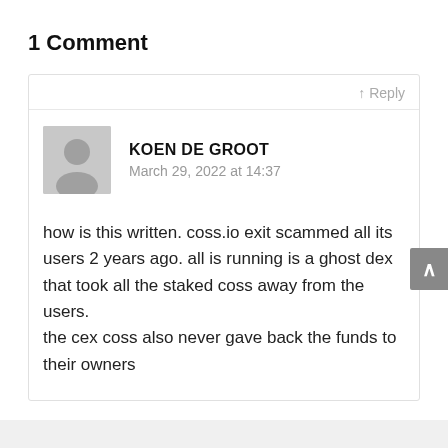1 Comment
↑ Reply
KOEN DE GROOT
March 29, 2022 at 14:37
how is this written. coss.io exit scammed all its users 2 years ago. all is running is a ghost dex that took all the staked coss away from the users.
the cex coss also never gave back the funds to their owners